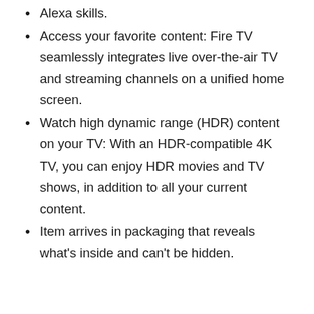Alexa skills.
Access your favorite content: Fire TV seamlessly integrates live over-the-air TV and streaming channels on a unified home screen.
Watch high dynamic range (HDR) content on your TV: With an HDR-compatible 4K TV, you can enjoy HDR movies and TV shows, in addition to all your current content.
Item arrives in packaging that reveals what's inside and can't be hidden.